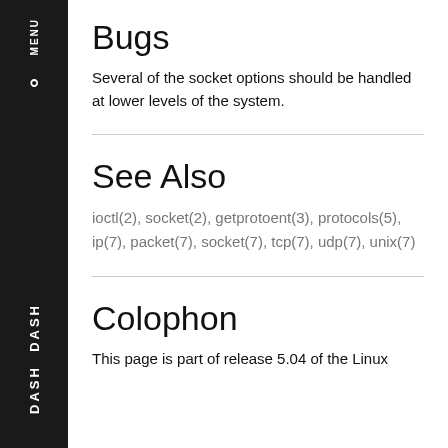Bugs
Several of the socket options should be handled at lower levels of the system.
See Also
ioctl(2), socket(2), getprotoent(3), protocols(5), ip(7), packet(7), socket(7), tcp(7), udp(7), unix(7)
Colophon
This page is part of release 5.04 of the Linux